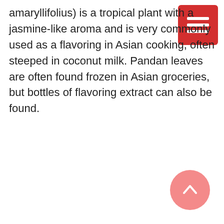amaryllifolius) is a tropical plant with a jasmine-like aroma and is very commonly used as a flavoring in Asian cooking, often steeped in coconut milk. Pandan leaves are often found frozen in Asian groceries, but bottles of flavoring extract can also be found.